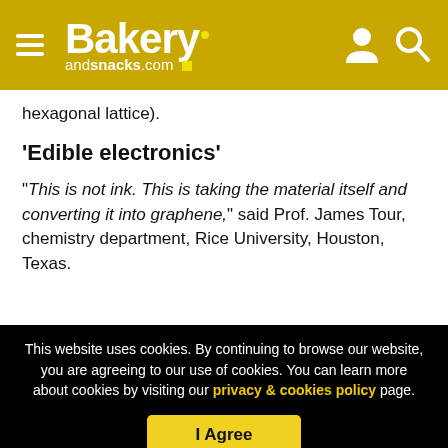Bakery andsnacks.com
hexagonal lattice).
'Edible electronics'
"This is not ink. This is taking the material itself and converting it into graphene," said Prof. James Tour, chemistry department, Rice University, Houston, Texas.
[Figure (photo): Three article thumbnail images partially visible]
This website uses cookies. By continuing to browse our website, you are agreeing to our use of cookies. You can learn more about cookies by visiting our privacy & cookies policy page.